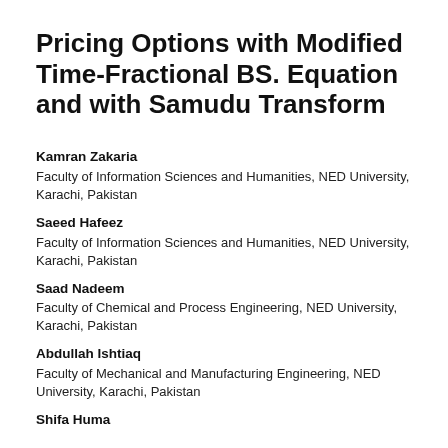Pricing Options with Modified Time-Fractional BS. Equation and with Samudu Transform
Kamran Zakaria
Faculty of Information Sciences and Humanities, NED University, Karachi, Pakistan
Saeed Hafeez
Faculty of Information Sciences and Humanities, NED University, Karachi, Pakistan
Saad Nadeem
Faculty of Chemical and Process Engineering, NED University, Karachi, Pakistan
Abdullah Ishtiaq
Faculty of Mechanical and Manufacturing Engineering, NED University, Karachi, Pakistan
Shifa Huma